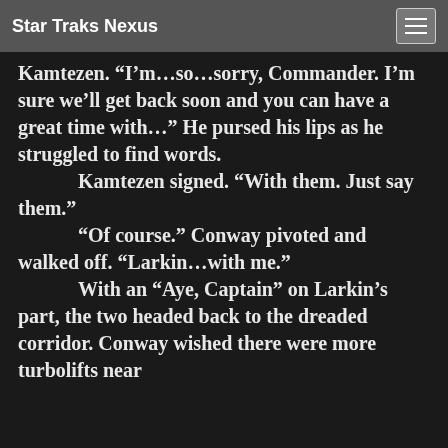Star Traks Nexus
Kamtezen. “I’m…so…sorry, Commander. I’m sure we’ll get back soon and you can have a great time with…” He pursed his lips as he struggled to find words.
	Kamtezen signed. “With them. Just say them.”
	“Of course.” Conway pivoted and walked off. “Larkin…with me.”
	With an “Aye, Captain” on Larkin’s part, the two headed back to the dreaded corridor. Conway wished there were more turbolifts near